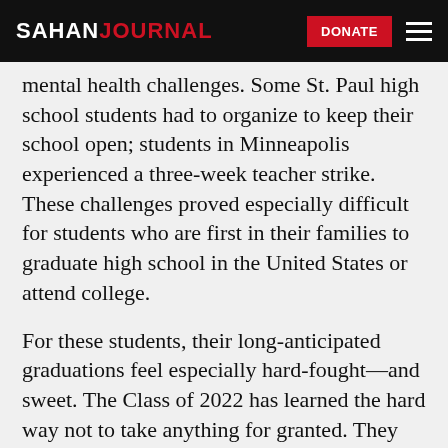SAHAN JOURNAL
mental health challenges. Some St. Paul high school students had to organize to keep their school open; students in Minneapolis experienced a three-week teacher strike. These challenges proved especially difficult for students who are first in their families to graduate high school in the United States or attend college.
For these students, their long-anticipated graduations feel especially hard-fought—and sweet. The Class of 2022 has learned the hard way not to take anything for granted. They are proud they made it through, and ready for their